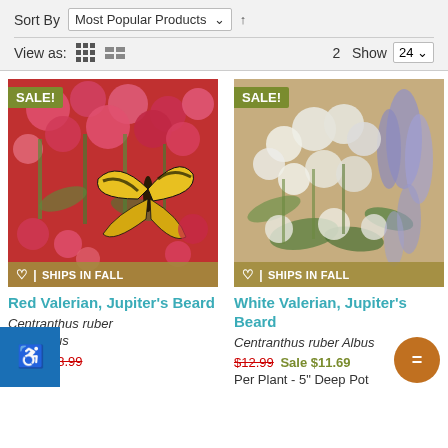Sort By  Most Popular Products  v  ↑
View as:  ⠿  ⠿  2  Show  24
[Figure (photo): Red Valerian with pink flowers and a yellow swallowtail butterfly, labeled SALE! and SHIPS IN FALL]
[Figure (photo): White Valerian with white and purple flowers, labeled SALE! and SHIPS IN FALL]
Red Valerian, Jupiter's Beard
White Valerian, Jupiter's Beard
Centranthus ruber Coccineus
Centranthus ruber Albus
ow as $13.99  $12.59
$12.99 Sale $11.69
Per Plant - 5" Deep Pot